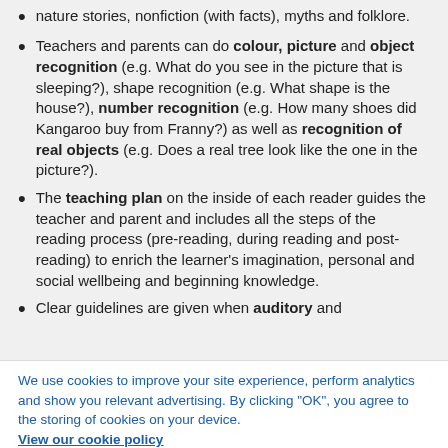nature stories, nonfiction (with facts), myths and folklore.
Teachers and parents can do colour, picture and object recognition (e.g. What do you see in the picture that is sleeping?), shape recognition (e.g. What shape is the house?), number recognition (e.g. How many shoes did Kangaroo buy from Franny?) as well as recognition of real objects (e.g. Does a real tree look like the one in the picture?).
The teaching plan on the inside of each reader guides the teacher and parent and includes all the steps of the reading process (pre-reading, during reading and post-reading) to enrich the learner's imagination, personal and social wellbeing and beginning knowledge.
Clear guidelines are given when auditory and
We use cookies to improve your site experience, perform analytics and show you relevant advertising. By clicking "OK", you agree to the storing of cookies on your device.
View our cookie policy